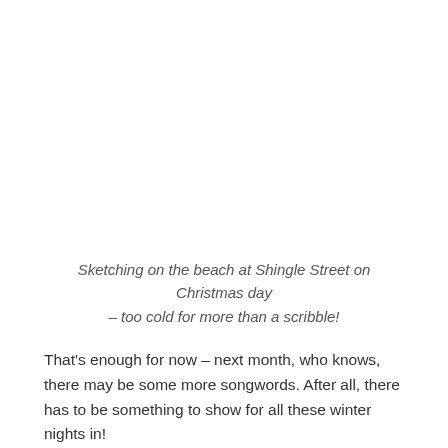Sketching on the beach at Shingle Street on Christmas day – too cold for more than a scribble!
That's enough for now – next month, who knows, there may be some more songwords. After all, there has to be something to show for all these winter nights in!